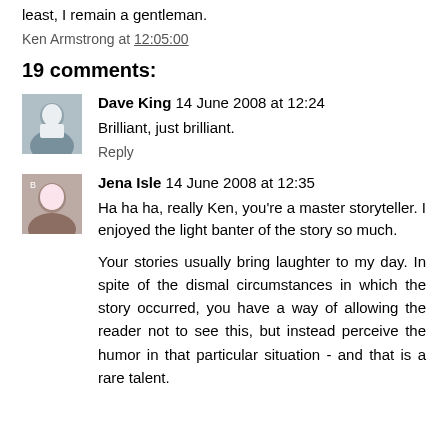least, I remain a gentleman.
Ken Armstrong at 12:05:00
19 comments:
Dave King  14 June 2008 at 12:24
Brilliant, just brilliant.
Reply
Jena Isle  14 June 2008 at 12:35
Ha ha ha, really Ken, you're a master storyteller. I enjoyed the light banter of the story so much.
Your stories usually bring laughter to my day. In spite of the dismal circumstances in which the story occurred, you have a way of allowing the reader not to see this, but instead perceive the humor in that particular situation - and that is a rare talent.